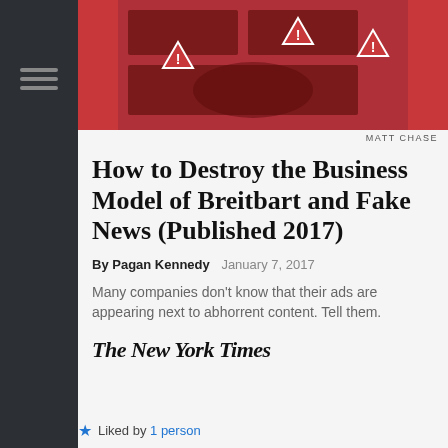[Figure (illustration): Red background illustration with warning triangle symbols and partial image of text/graphic, credited to Matt Chase]
MATT CHASE
How to Destroy the Business Model of Breitbart and Fake News (Published 2017)
By Pagan Kennedy   January 7, 2017
Many companies don’t know that their ads are appearing next to abhorrent content. Tell them.
[Figure (logo): The New York Times logo in blackletter serif font]
★ Liked by 1 person